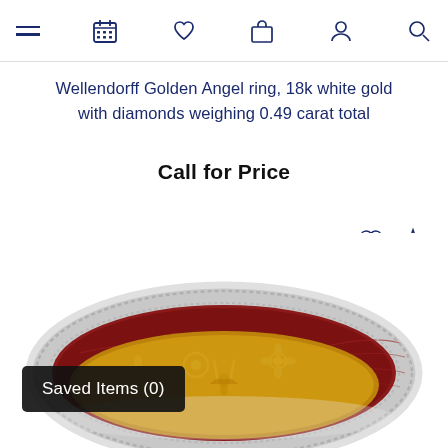Navigation bar with hamburger menu, calendar, heart, bag, person, and search icons
Wellendorff Golden Angel ring, 18k white gold with diamonds weighing 0.49 carat total
Call for Price
[Figure (photo): Close-up photo of a Wellendorff ring with dark red enamel and floral/angel motifs in white gold with diamond accents, yellow gold interior visible, on white background]
Saved Items (0)